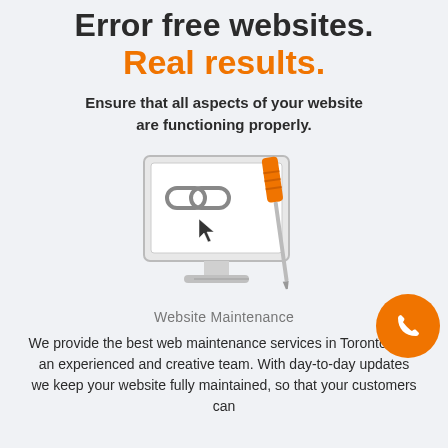Error free websites. Real results.
Ensure that all aspects of your website are functioning properly.
[Figure (illustration): Computer monitor displaying chain link icon with cursor arrow, and an orange screwdriver leaning against the screen, symbolizing website maintenance.]
Website Maintenance
We provide the best web maintenance services in Toronto, with an experienced and creative team. With day-to-day updates we keep your website fully maintained, so that your customers can